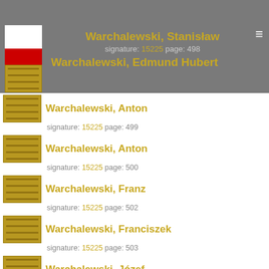Warchalewski, Stanisław
signature: 15225 page: 498
Warchalewski, Edmund Hubert
Warchalewski, Anton
signature: 15225 page: 499
Warchalewski, Anton
signature: 15225 page: 500
Warchalewski, Franz
signature: 15225 page: 502
Warchalewski, Franciszek
signature: 15225 page: 503
Warchalewski, Józef
signature: 15225 page: 504
Warchalewski, Marjan
signature: 15225 page: 506
Warchalewski, Stanisław
signature: 15225 page: 507
Warchalewski, Stanislaus
signature: 15225 page: 509
Warchalewski, Sylwester
signature: 15225 page: 510